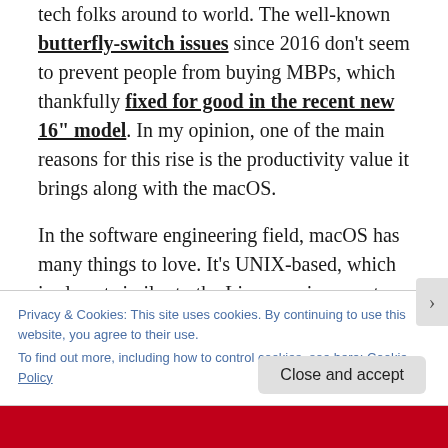tech folks around to world. The well-known butterfly-switch issues since 2016 don't seem to prevent people from buying MBPs, which thankfully fixed for good in the recent new 16" model. In my opinion, one of the main reasons for this rise is the productivity value it brings along with the macOS.
In the software engineering field, macOS has many things to love. It's UNIX-based, which is almost similar to the Linux environment used for most server-side services. For mobile app engineers like me, macOS allows us to develop applications for both iOS and Android. Not to mention the
Privacy & Cookies: This site uses cookies. By continuing to use this website, you agree to their use.
To find out more, including how to control cookies, see here: Cookie Policy